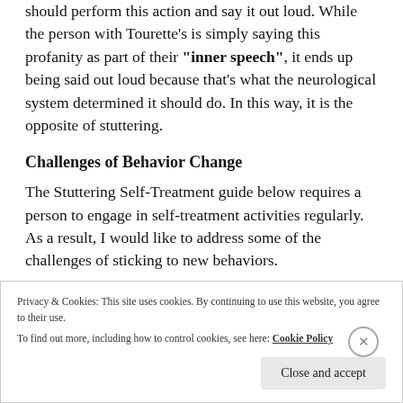should perform this action and say it out loud. While the person with Tourette's is simply saying this profanity as part of their "inner speech", it ends up being said out loud because that's what the neurological system determined it should do.  In this way, it is the opposite of stuttering.
Challenges of Behavior Change
The Stuttering Self-Treatment guide below requires a person to engage in self-treatment activities regularly.  As a result, I would like to address some of the challenges of sticking to new behaviors.
Privacy & Cookies: This site uses cookies. By continuing to use this website, you agree to their use.
To find out more, including how to control cookies, see here: Cookie Policy